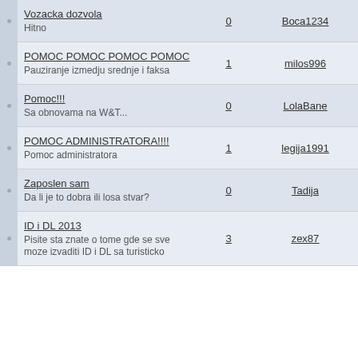|  | Topic | Replies | Author | Views |
| --- | --- | --- | --- | --- |
|  | Vozacka dozvola
Hitno | 0 | Boca1234 | 12,517 |
|  | POMOC POMOC POMOC POMOC
Pauziranje izmedju srednje i faksa | 1 | milos996 | 8,185 |
|  | Pomoc!!!
Sa obnovama na W&T... | 0 | LolaBane | 8,182 |
|  | POMOC ADMINISTRATORA!!!!
Pomoc administratora | 1 | legija1991 | 8,609 |
|  | Zaposlen sam
Da li je to dobra ili losa stvar? | 0 | Tadija | 7,776 |
|  | ID i DL 2013
Pisite sta znate o tome gde se sve moze izvaditi ID i DL sa turisticko | 3 | zex87 | 11,265 |